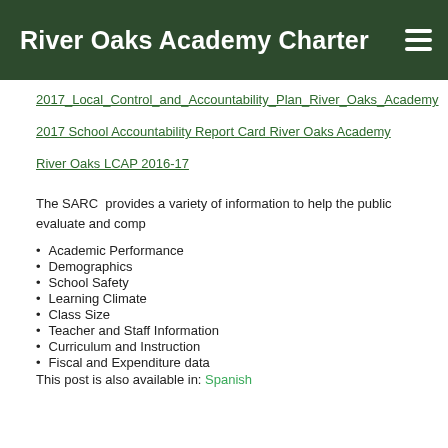River Oaks Academy Charter
2017_Local_Control_and_Accountability_Plan_River_Oaks_Academy
2017 School Accountability Report Card River Oaks Academy
River Oaks LCAP 2016-17
The SARC  provides a variety of information to help the public evaluate and comp
Academic Performance
Demographics
School Safety
Learning Climate
Class Size
Teacher and Staff Information
Curriculum and Instruction
Fiscal and Expenditure data
This post is also available in: Spanish